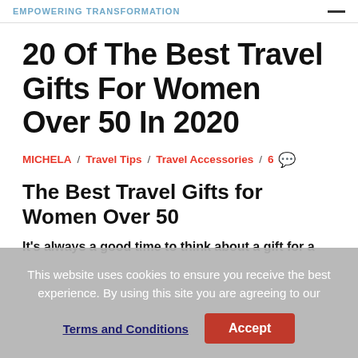EMPOWERING TRANSFORMATION
20 Of The Best Travel Gifts For Women Over 50 In 2020
MICHELA / Travel Tips / Travel Accessories / 6
The Best Travel Gifts for Women Over 50
It's always a good time to think about a gift for a
This website uses cookies to ensure you receive the best experience. By using this site you are agreeing to our
Terms and Conditions  Accept